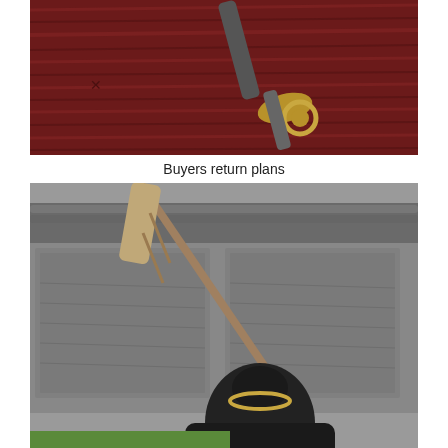[Figure (photo): Close-up of a decorative metallic sword handle/guard with gold fittings against a red wooden textured background]
Buyers return plans
[Figure (photo): Person viewed from behind holding an ornate staff/spear diagonally, facing a traditional Chinese stone relief wall with intricate carvings. The person has dark hair in a bun with a gold hair ring.]